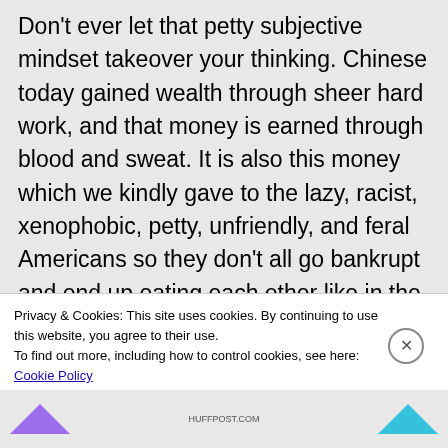Don't ever let that petty subjective mindset takeover your thinking. Chinese today gained wealth through sheer hard work, and that money is earned through blood and sweat. It is also this money which we kindly gave to the lazy, racist, xenophobic, petty, unfriendly, and feral Americans so they don't all go bankrupt and end up eating each other like in the Dark Ages. And how do they respond to our kindness? Arrogance, pettiness, xenophobic, and...
Privacy & Cookies: This site uses cookies. By continuing to use this website, you agree to their use.
To find out more, including how to control cookies, see here: Cookie Policy
Close and accept